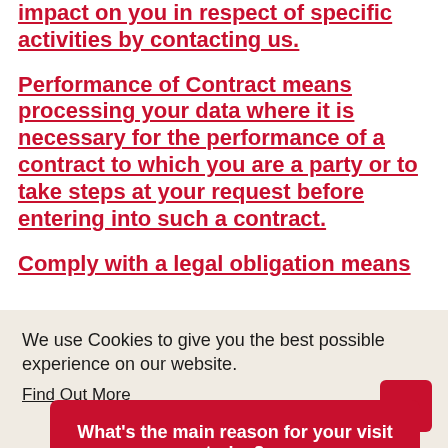impact on you in respect of specific activities by contacting us.
Performance of Contract means processing your data where it is necessary for the performance of a contract to which you are a party or to take steps at your request before entering into such a contract.
Comply with a legal obligation means
We use Cookies to give you the best possible experience on our website. Find Out More
What's the main reason for your visit today? Reply
compo